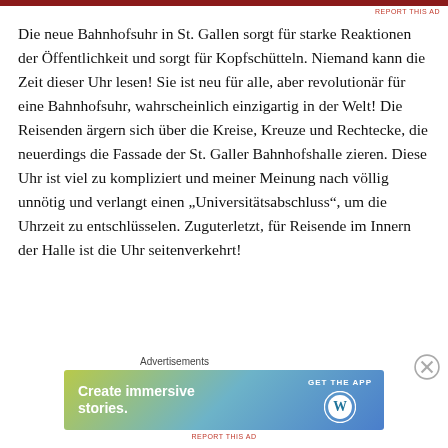REPORT THIS AD
Die neue Bahnhofsuhr in St. Gallen sorgt für starke Reaktionen der Öffentlichkeit und sorgt für Kopfschütteln. Niemand kann die Zeit dieser Uhr lesen! Sie ist neu für alle, aber revolutionär für eine Bahnhofsuhr, wahrscheinlich einzigartig in der Welt! Die Reisenden ärgern sich über die Kreise, Kreuze und Rechtecke, die neuerdings die Fassade der St. Galler Bahnhofshalle zieren. Diese Uhr ist viel zu kompliziert und meiner Meinung nach völlig unnötig und verlangt einen „Universitätsabschluss“, um die Uhrzeit zu entschlüsselen. Zuguterletzt, für Reisende im Innern der Halle ist die Uhr seitenverkehrt!
[Figure (infographic): Advertisement banner: 'Create immersive stories. GET THE APP' with WordPress logo on gradient background]
REPORT THIS AD